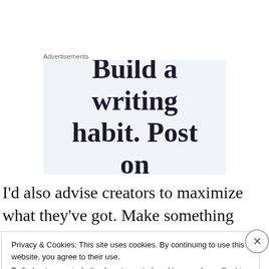Advertisements
[Figure (illustration): Advertisement banner with large serif text reading 'Build a writing habit. Post on' on a light blue-gray background]
I'd also advise creators to maximize what they've got. Make something unique and entertaining out of limited resources rather than attempting something that's beyond
Privacy & Cookies: This site uses cookies. By continuing to use this website, you agree to their use.
To find out more, including how to control cookies, see here: Cookie Policy
Close and accept